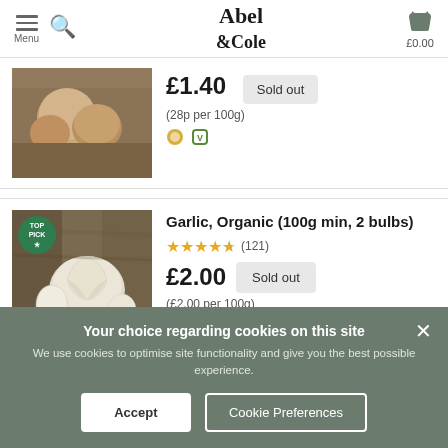Abel & Cole — Menu, Search, Basket £0.00
[Figure (photo): Partial product image of onions on wooden surface]
£1.40
Sold out
(28p per 100g)
[Figure (photo): Garlic bulbs on wooden surface with TOP PICK badge]
Garlic, Organic (100g min, 2 bulbs)
★★★★★ (121)
£2.00
Sold out
(£2.00 per 100g)
Your choice regarding cookies on this site
We use cookies to optimise site functionality and give you the best possible experience.
Accept
Cookie Preferences